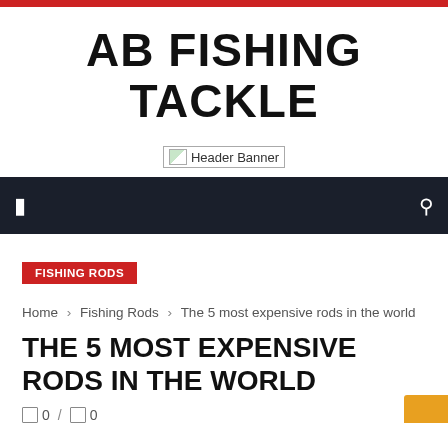AB FISHING TACKLE
[Figure (other): Header Banner placeholder image with broken image icon and alt text 'Header Banner']
FISHING RODS
Home › Fishing Rods › The 5 most expensive rods in the world
THE 5 MOST EXPENSIVE RODS IN THE WORLD
0 / 0